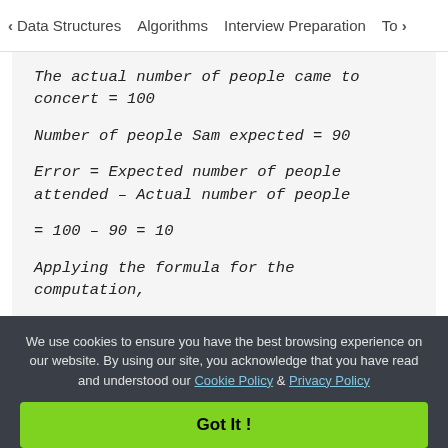< Data Structures   Algorithms   Interview Preparation   To>
The actual number of people came to concert = 100
Number of people Sam expected = 90
Error = Expected number of people attended – Actual number of people
Applying the formula for the computation,
Percentage Error = (Error) / (Actual
We use cookies to ensure you have the best browsing experience on our website. By using our site, you acknowledge that you have read and understood our Cookie Policy & Privacy Policy
Got It !